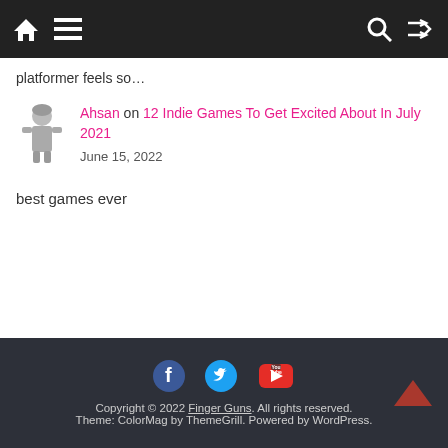Navigation bar with home, menu, search, and shuffle icons
platformer feels so…
Ahsan on 12 Indie Games To Get Excited About In July 2021
June 15, 2022
best games ever
Copyright © 2022 Finger Guns. All rights reserved.
Theme: ColorMag by ThemeGrill. Powered by WordPress.